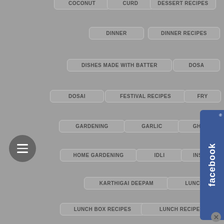COCONUT
CURD
DESSERT RECIPES
DINNER
DINNER RECIPES
DISHES MADE WITH BATTER
DOSA
DOSAI
FESTIVAL RECIPES
FRY
GARDENING
GARLIC
GHEE
HOME GARDENING
IDLI
INSTANT
KARTHIGAI DEEPAM
LUNCH
LUNCH BOX RECIPES
LUNCH RECIPES
MILK
NAVRATRI RECIPES
OATS
ONION
PONGAL FESTIVAL RECIPE